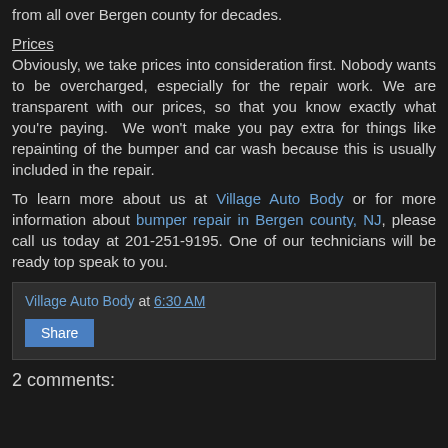Located in Ridgewood, NJ, we have been serving people from all over Bergen county for decades.
Prices
Obviously, we take prices into consideration first. Nobody wants to be overcharged, especially for the repair work. We are transparent with our prices, so that you know exactly what you're paying.  We won't make you pay extra for things like repainting of the bumper and car wash because this is usually included in the repair.
To learn more about us at Village Auto Body or for more information about bumper repair in Bergen county, NJ, please call us today at 201-251-9195. One of our technicians will be ready top speak to you.
Village Auto Body at 6:30 AM
Share
2 comments: